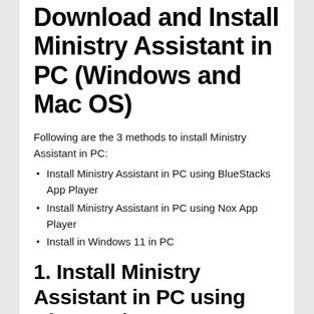Download and Install Ministry Assistant in PC (Windows and Mac OS)
Following are the 3 methods to install Ministry Assistant in PC:
Install Ministry Assistant in PC using BlueStacks App Player
Install Ministry Assistant in PC using Nox App Player
Install in Windows 11 in PC
1. Install Ministry Assistant in PC using BlueStacks